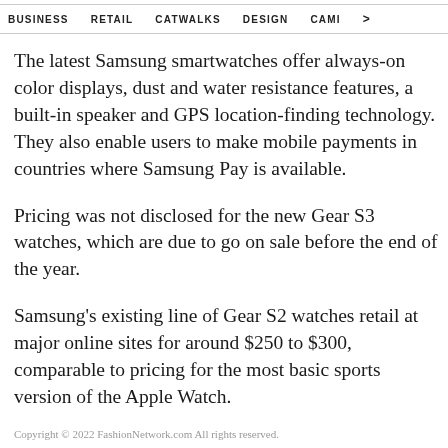BUSINESS   RETAIL   CATWALKS   DESIGN   CAMI  >
The latest Samsung smartwatches offer always-on color displays, dust and water resistance features, a built-in speaker and GPS location-finding technology. They also enable users to make mobile payments in countries where Samsung Pay is available.
Pricing was not disclosed for the new Gear S3 watches, which are due to go on sale before the end of the year.
Samsung's existing line of Gear S2 watches retail at major online sites for around $250 to $300, comparable to pricing for the most basic sports version of the Apple Watch.
Copyright © 2022 FashionNetwork.com All rights reserved.